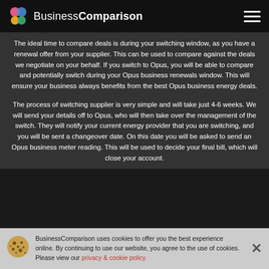Business Comparison
The ideal time to compare deals is during your switching window, as you have a renewal offer from your supplier. This can be used to compare against the deals we negotiate on your behalf. If you switch to Opus, you will be able to compare and potentially switch during your Opus business renewals window. This will ensure your business always benefits from the best Opus business energy deals.
The process of switching supplier is very simple and will take just 4-6 weeks. We will send your details off to Opus, who will then take over the management of the switch. They will notify your current energy provider that you are switching, and you will be sent a changeover date. On this date you will be asked to send an Opus business meter reading. This will be used to decide your final bill, which will close your account.
BusinessComparison uses cookies to offer you the best experience online. By continuing to use our website, you agree to the use of cookies. Please view our privacy & cookie policy.